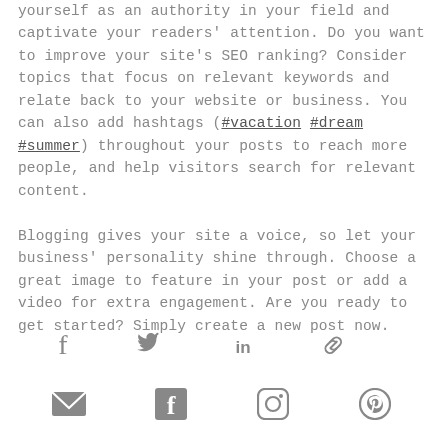yourself as an authority in your field and captivate your readers' attention. Do you want to improve your site's SEO ranking? Consider topics that focus on relevant keywords and relate back to your website or business. You can also add hashtags (#vacation #dream #summer) throughout your posts to reach more people, and help visitors search for relevant content.

Blogging gives your site a voice, so let your business' personality shine through. Choose a great image to feature in your post or add a video for extra engagement. Are you ready to get started? Simply create a new post now.
[Figure (infographic): Social share icons row: Facebook, Twitter, LinkedIn, Link]
[Figure (infographic): Social icons row: Email, Facebook, Instagram, Pinterest]